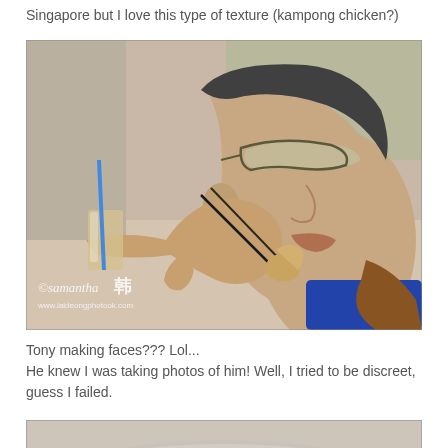Singapore but I love this type of texture (kampong chicken?)
[Figure (photo): Close-up photo of a man wearing glasses eating chicken with chopsticks, taken at a restaurant. Watermark reads '©samantha' with Chinese character and 'www.laideongphotook.com' at bottom left.]
Tony making faces??? Lol...
He knew I was taking photos of him! Well, I tried to be discreet, guess I failed.
[Figure (photo): Partial photo showing a plate with food, blurred background, bottom portion visible.]